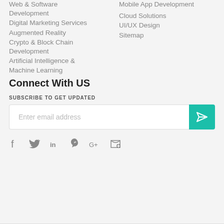Web & Software Development
Digital Marketing Services
Augmented Reality
Crypto & Block Chain Development
Artificial Intelligence & Machine Learning
Mobile App Development
Cloud Solutions
UI/UX Design
Sitemap
Connect With US
SUBSCRIBE TO GET UPDATED
Enter email address
[Figure (infographic): Social media icons: Facebook, Twitter, LinkedIn, Pinterest, Google+, RSS feed]